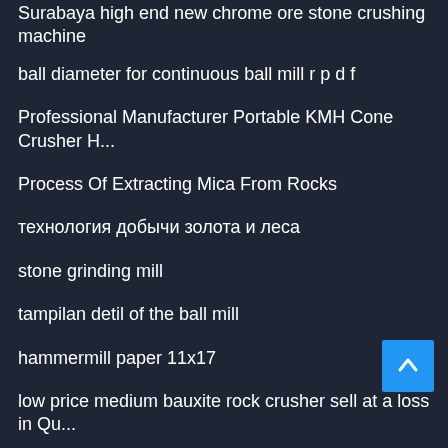Surabaya high end new chrome ore stone crushing machine
ball diameter for continuous ball mill r p d f
Professional Manufacturer Portable KMH Cone Crusher H...
Process Of Extracting Mica From Rocks
технология добычи золота и леса
stone grinding mill
tampilan detil of the ball mill
hammermill paper 11x17
low price medium bauxite rock crusher sell at a loss in Qu...
bmw magnetic separator screens sizes
cyclone iron ore beneficiation process equipment